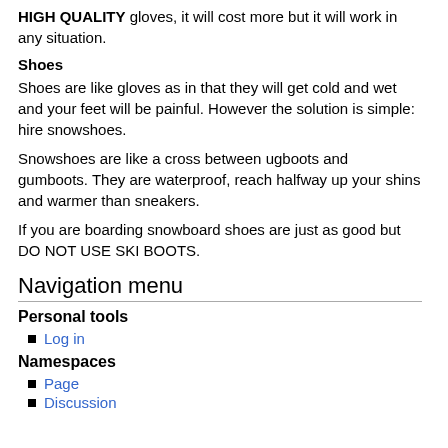HIGH QUALITY gloves, it will cost more but it will work in any situation.
Shoes
Shoes are like gloves as in that they will get cold and wet and your feet will be painful. However the solution is simple: hire snowshoes.
Snowshoes are like a cross between ugboots and gumboots. They are waterproof, reach halfway up your shins and warmer than sneakers.
If you are boarding snowboard shoes are just as good but DO NOT USE SKI BOOTS.
Navigation menu
Personal tools
Log in
Namespaces
Page
Discussion